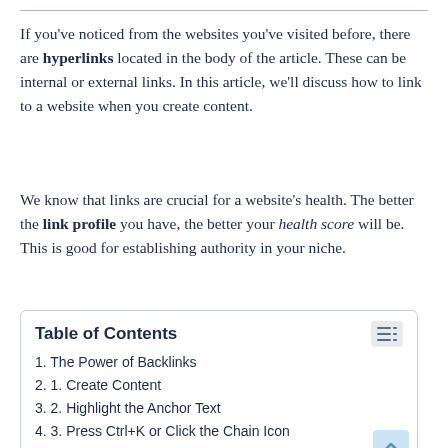If you've noticed from the websites you've visited before, there are hyperlinks located in the body of the article. These can be internal or external links. In this article, we'll discuss how to link to a website when you create content.
We know that links are crucial for a website's health. The better the link profile you have, the better your health score will be. This is good for establishing authority in your niche.
| Table of Contents |
| 1. The Power of Backlinks |
| 2. 1. Create Content |
| 3. 2. Highlight the Anchor Text |
| 4. 3. Press Ctrl+K or Click the Chain Icon |
| 5. 4. Copy the URL from the Website |